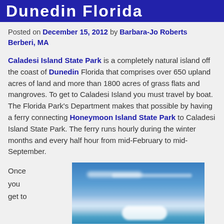Dunedin Florida
Posted on December 15, 2012 by Barbara-Jo Roberts Berberi, MA
Caladesi Island State Park is a completely natural island off the coast of Dunedin Florida that comprises over 650 upland acres of land and more than 1800 acres of grass flats and mangroves. To get to Caladesi Island you must travel by boat. The Florida Park's Department makes that possible by having a ferry connecting Honeymoon Island State Park to Caladesi Island State Park. The ferry runs hourly during the winter months and every half hour from mid-February to mid-September.
Once you get to
[Figure (photo): Photograph of Caladesi Island showing blue sky with light clouds above calm blue-green ocean water]